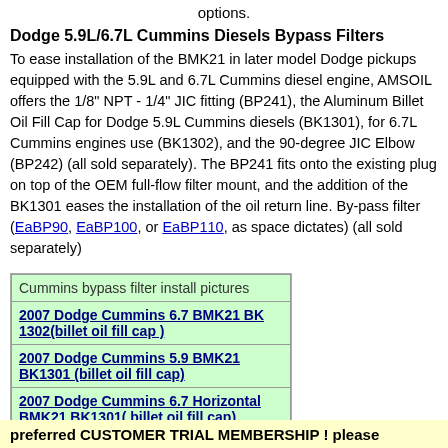options.
Dodge 5.9L/6.7L Cummins Diesels Bypass Filters
To ease installation of the BMK21 in later model Dodge pickups equipped with the 5.9L and 6.7L Cummins diesel engine, AMSOIL offers the 1/8" NPT - 1/4" JIC fitting (BP241), the Aluminum Billet Oil Fill Cap for Dodge 5.9L Cummins diesels (BK1301), for 6.7L Cummins engines use (BK1302), and the 90-degree JIC Elbow (BP242) (all sold separately). The BP241 fits onto the existing plug on top of the OEM full-flow filter mount, and the addition of the BK1301 eases the installation of the oil return line. By-pass filter (EaBP90, EaBP100, or EaBP110, as space dictates) (all sold separately)
| Cummins bypass filter install pictures |
| --- |
| 2007 Dodge Cummins 6.7 BMK21 BK 1302(billet oil fill cap ) |
| 2007 Dodge Cummins 5.9 BMK21 BK1301 (billet oil fill cap) |
| 2007 Dodge Cummins 6.7 Horizontal BMK21 BK1301( billet oil fill cap) |
preferred CUSTOMER TRIAL MEMBERSHIP ! please